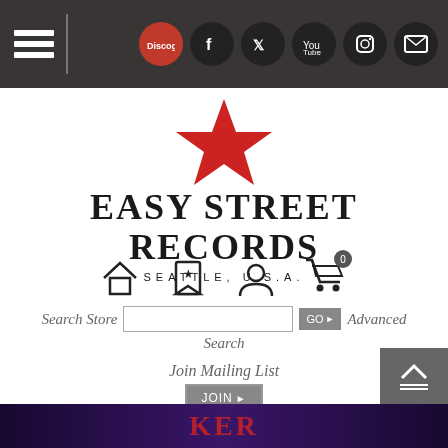Easy Street Records navigation bar with hamburger menu and social icons (Discogs, Facebook, Twitter, YouTube, Instagram, Mail)
[Figure (logo): Easy Street Records logo: red five-pointed star above bold serif text EASY STREET RECORDS, SEATTLE, U.S.A.]
[Figure (infographic): Navigation icons: home, bookmark/wishlist, user account, shopping cart with badge 0]
Search Store  [input box]  GO!  Advanced Search
Join Mailing List  JOIN►
Contact Us ✉
[Figure (photo): Bottom banner image with dark purple/blue background and partial red text, likely an album or artist promotional image]